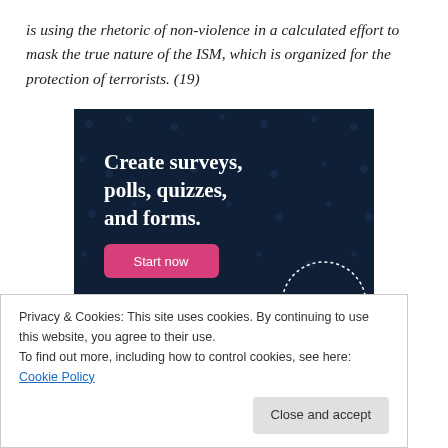is using the rhetoric of non-violence in a calculated effort to mask the true nature of the ISM, which is organized for the protection of terrorists. (19)
[Figure (screenshot): Advertisement banner with dark navy background showing text 'Create surveys, polls, quizzes, and forms.' with a pink 'Start now' button and a Crowd Signal logo in the bottom right corner.]
Privacy & Cookies: This site uses cookies. By continuing to use this website, you agree to their use.
To find out more, including how to control cookies, see here: Cookie Policy